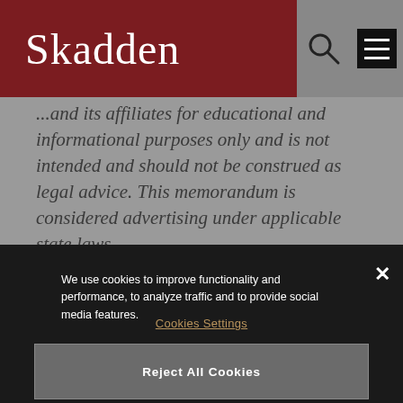Skadden
... and its affiliates for educational and informational purposes only and is not intended and should not be construed as legal advice. This memorandum is considered advertising under applicable state laws.
We use cookies to improve functionality and performance, to analyze traffic and to provide social media features.
Cookies Settings
Reject All Cookies
Accept All Cookies